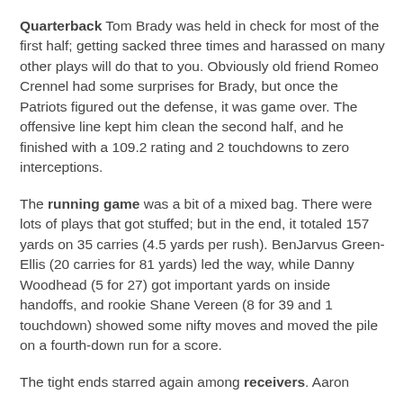Quarterback Tom Brady was held in check for most of the first half; getting sacked three times and harassed on many other plays will do that to you. Obviously old friend Romeo Crennel had some surprises for Brady, but once the Patriots figured out the defense, it was game over. The offensive line kept him clean the second half, and he finished with a 109.2 rating and 2 touchdowns to zero interceptions.
The running game was a bit of a mixed bag. There were lots of plays that got stuffed; but in the end, it totaled 157 yards on 35 carries (4.5 yards per rush). BenJarvus Green-Ellis (20 carries for 81 yards) led the way, while Danny Woodhead (5 for 27) got important yards on inside handoffs, and rookie Shane Vereen (8 for 39 and 1 touchdown) showed some nifty moves and moved the pile on a fourth-down run for a score.
The tight ends starred again among receivers. Aaron